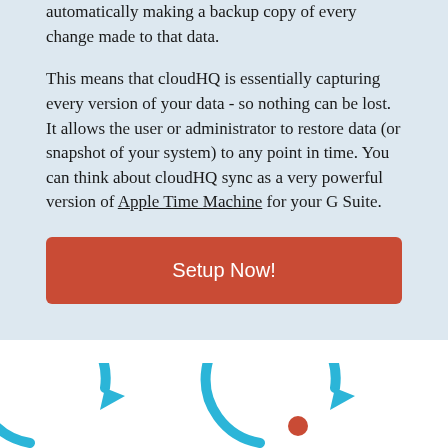automatically making a backup copy of every change made to that data.
This means that cloudHQ is essentially capturing every version of your data - so nothing can be lost. It allows the user or administrator to restore data (or snapshot of your system) to any point in time. You can think about cloudHQ sync as a very powerful version of Apple Time Machine for your G Suite.
[Figure (other): Red 'Setup Now!' call-to-action button]
[Figure (illustration): Two circular arrow sync/refresh icons in blue, the right one with a red dot, partially visible at the bottom of the page]